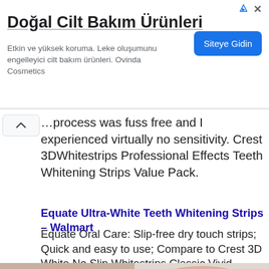[Figure (screenshot): Advertisement banner for 'Doğal Cilt Bakım Ürünleri' (Natural Skin Care Products). Title in bold, body text in gray Turkish, and a blue 'Siteye Gidin' call-to-action button. Ad icons at top right.]
…process was fuss free and I experienced virtually no sensitivity. Crest 3DWhitestrips Professional Effects Teeth Whitening Strips Value Pack.
Equate Ultra-White Teeth Whitening Strips – Walmart
Equate Oral Care: Slip-free dry touch strips; Quick and easy to use; Compare to Crest 3D White No Slip Whitestrips Classic Vivid.
[Figure (photo): Before and after teeth whitening comparison photo. Left side shows yellowish teeth, right side shows bright white teeth. 'Professional Zoom' watermark overlay at bottom right.]